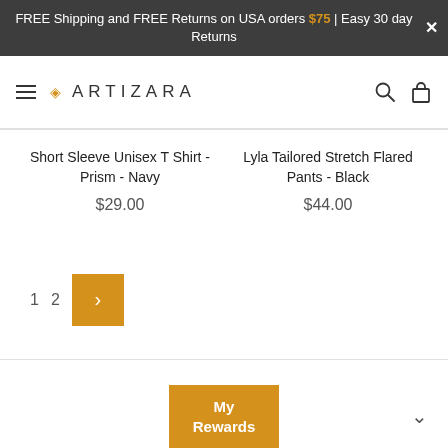FREE Shipping and FREE Returns on USA orders $75 | Easy 30 day Returns
ARTIZARA
Short Sleeve Unisex T Shirt - Prism - Navy
$29.00
Lyla Tailored Stretch Flared Pants - Black
$44.00
1
2
>
My Rewards